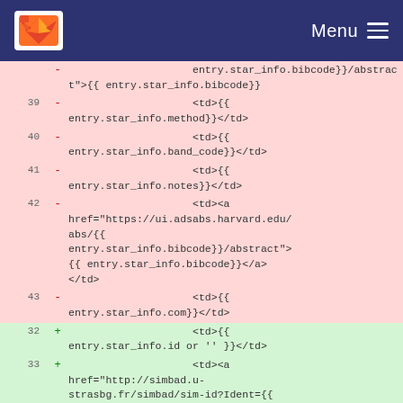Menu
Code diff showing template HTML lines 39-43 (deleted) and 32-33 (added)